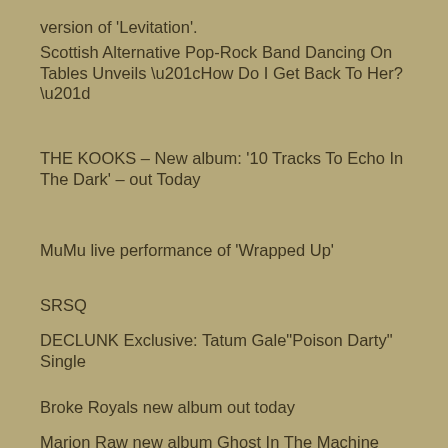version of 'Levitation'.
Scottish Alternative Pop-Rock Band Dancing On Tables Unveils “How Do I Get Back To Her?”
THE KOOKS – New album: '10 Tracks To Echo In The Dark' – out Today
MuMu live performance of ‘Wrapped Up’
SRSQ
DECLUNK Exclusive: Tatum Gale“Poison Darty” Single
Broke Royals new album out today
Marion Raw new album Ghost In The Machine